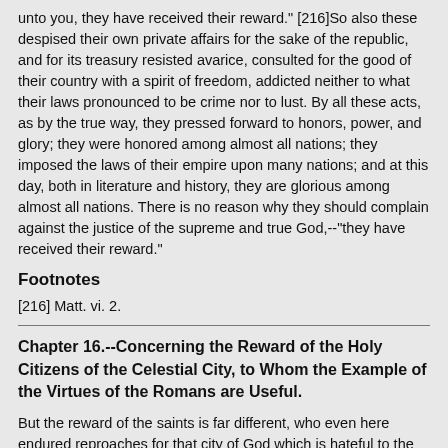unto you, they have received their reward." [216]So also these despised their own private affairs for the sake of the republic, and for its treasury resisted avarice, consulted for the good of their country with a spirit of freedom, addicted neither to what their laws pronounced to be crime nor to lust. By all these acts, as by the true way, they pressed forward to honors, power, and glory; they were honored among almost all nations; they imposed the laws of their empire upon many nations; and at this day, both in literature and history, they are glorious among almost all nations. There is no reason why they should complain against the justice of the supreme and true God,--"they have received their reward."
Footnotes
[216] Matt. vi. 2.
Chapter 16.--Concerning the Reward of the Holy Citizens of the Celestial City, to Whom the Example of the Virtues of the Romans are Useful.
But the reward of the saints is far different, who even here endured reproaches for that city of God which is hateful to the lovers of this world. That city is eternal. There none are born, for none die. There is true and full felicity,--not a goddess, but a gift of God. Thence we receive the pledge of faith whilst on our pilgrimage we sigh for its beauty. There rises not the sun on the good and the evil, but the Sun of Righteousness protects the good alone. There no great riches but